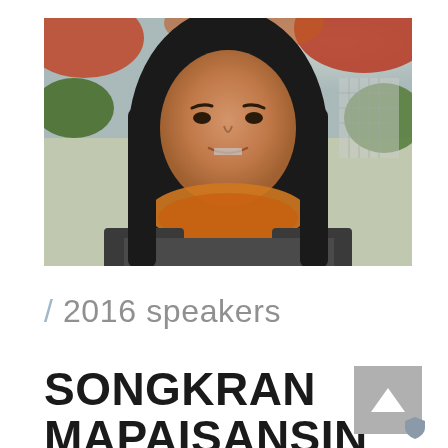[Figure (photo): Portrait photo of Songkran Mapaisansin, a woman with long black hair wearing an orange/gold beaded necklace and dark jacket, standing outdoors with autumn foliage in the background]
/ 2016 speakers
SONGKRAN MAPAISANSIN